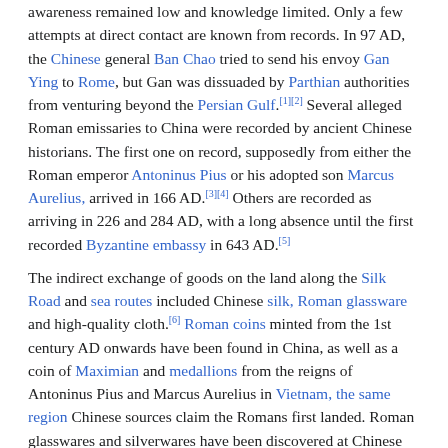awareness remained low and knowledge limited. Only a few attempts at direct contact are known from records. In 97 AD, the Chinese general Ban Chao tried to send his envoy Gan Ying to Rome, but Gan was dissuaded by Parthian authorities from venturing beyond the Persian Gulf.[1][2] Several alleged Roman emissaries to China were recorded by ancient Chinese historians. The first one on record, supposedly from either the Roman emperor Antoninus Pius or his adopted son Marcus Aurelius, arrived in 166 AD.[3][4] Others are recorded as arriving in 226 and 284 AD, with a long absence until the first recorded Byzantine embassy in 643 AD.[5]
The indirect exchange of goods on the land along the Silk Road and sea routes included Chinese silk, Roman glassware and high-quality cloth.[6] Roman coins minted from the 1st century AD onwards have been found in China, as well as a coin of Maximian and medallions from the reigns of Antoninus Pius and Marcus Aurelius in Vietnam, the same region Chinese sources claim the Romans first landed. Roman glasswares and silverwares have been discovered at Chinese archaeological sites dated to the Han period. Roman coins and glass beads have also been found in Japan.